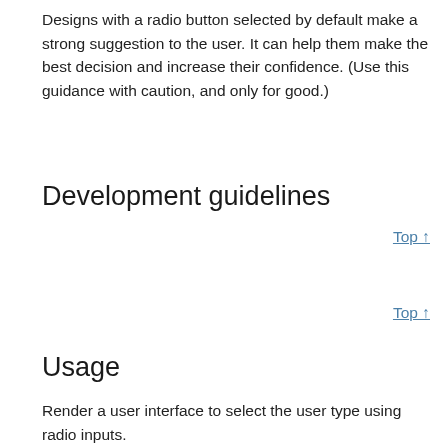Designs with a radio button selected by default make a strong suggestion to the user. It can help them make the best decision and increase their confidence. (Use this guidance with caution, and only for good.)
Top ↑
Development guidelines
Top ↑
Usage
Render a user interface to select the user type using radio inputs.
1  import { RadioControl } from '@wordpress/
2  import { useState } from '@wordpress/elem
3